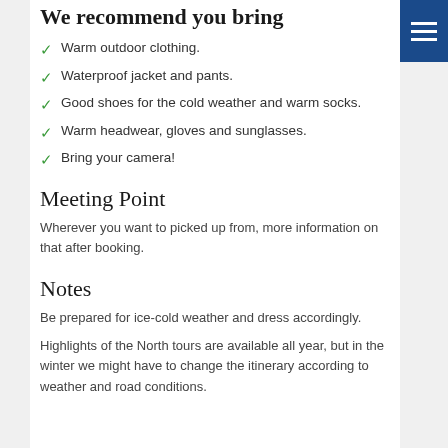We recommend you bring
Warm outdoor clothing.
Waterproof jacket and pants.
Good shoes for the cold weather and warm socks.
Warm headwear, gloves and sunglasses.
Bring your camera!
Meeting Point
Wherever you want to picked up from, more information on that after booking.
Notes
Be prepared for ice-cold weather and dress accordingly.
Highlights of the North tours are available all year, but in the winter we might have to change the itinerary according to weather and road conditions.